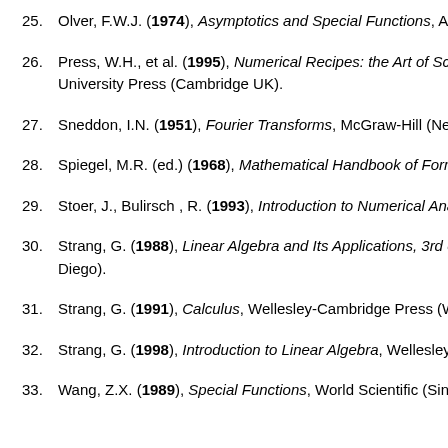25. Olver, F.W.J. (1974), Asymptotics and Special Functions, Aca...
26. Press, W.H., et al. (1995), Numerical Recipes: the Art of Scie... University Press (Cambridge UK).
27. Sneddon, I.N. (1951), Fourier Transforms, McGraw-Hill (New...
28. Spiegel, M.R. (ed.) (1968), Mathematical Handbook of Form...
29. Stoer, J., Bulirsch , R. (1993), Introduction to Numerical Ana...
30. Strang, G. (1988), Linear Algebra and Its Applications, 3rd ed... Diego).
31. Strang, G. (1991), Calculus, Wellesley-Cambridge Press (We...
32. Strang, G. (1998), Introduction to Linear Algebra, Wellesley-...
33. Wang, Z.X. (1989), Special Functions, World Scientific (Sing...